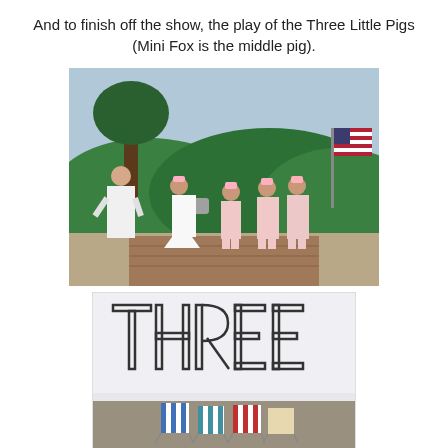And to finish off the show, the play of the Three Little Pigs (Mini Fox is the middle pig).
[Figure (photo): School play of Three Little Pigs. Children dressed in pig costumes with pink ear headbands stand in front of a painted backdrop of green hills and trees. An adult in white dress stands to the left. One child in white dress holds a basket. An American flag is visible on the right.]
[Figure (photo): Image showing the word THREE in large outlined block letters, with three beach/deck chairs below — one blue and white striped, one red and white striped, one plain/natural colored — on what appears to be a pebble beach.]